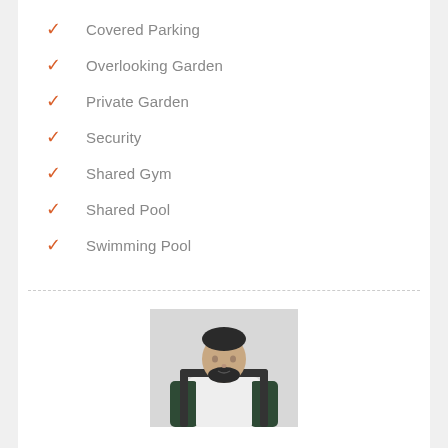Covered Parking
Overlooking Garden
Private Garden
Security
Shared Gym
Shared Pool
Swimming Pool
[Figure (photo): Photo of a bearded man sitting in a chair, wearing a white and dark green sweatshirt, against a light background.]